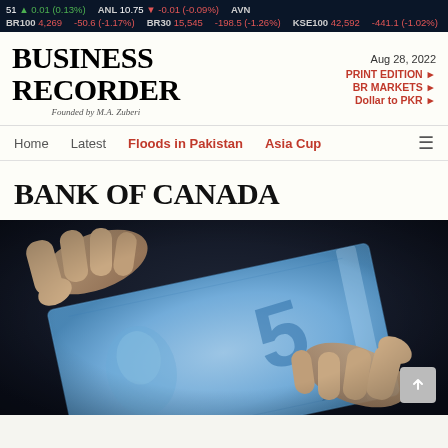51 ▲ 0.01 (0.13%) | ANL 10.75 ▼ -0.01 (-0.09%) | AVN | BR100 4,269 -50.6 (-1.17%) | BR30 15,545 -198.5 (-1.26%) | KSE100 42,592 -441.1 (-1.02%) | KSE30 16,115 -219.9 (-1.35%)
[Figure (logo): Business Recorder logo — bold serif uppercase, Founded by M.A. Zuberi]
Aug 28, 2022
PRINT EDITION ►
BR MARKETS ►
Dollar to PKR ►
Home  Latest  Floods in Pakistan  Asia Cup  ≡
BANK OF CANADA
[Figure (photo): Hands holding a Canadian $5 polymer banknote with blue tones, close-up photograph.]